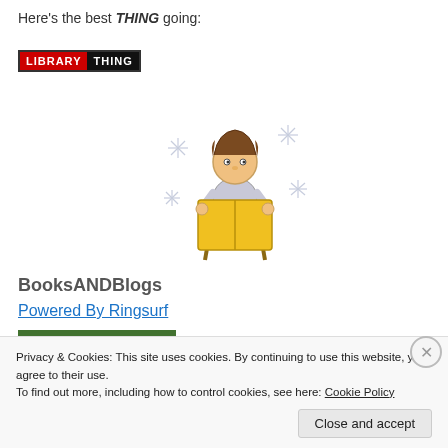Here's the best THING going:
[Figure (logo): LibraryThing logo — red block with 'LIBRARY' and black block with 'THING' in white bold text]
[Figure (illustration): Cartoon illustration of a child sitting on a stool reading a large yellow book, with sparkle/star effects around them]
BooksANDBlogs
Powered By Ringsurf
[Figure (photo): Photograph of flowering plants with pink and white blooms against green foliage]
Privacy & Cookies: This site uses cookies. By continuing to use this website, you agree to their use.
To find out more, including how to control cookies, see here: Cookie Policy